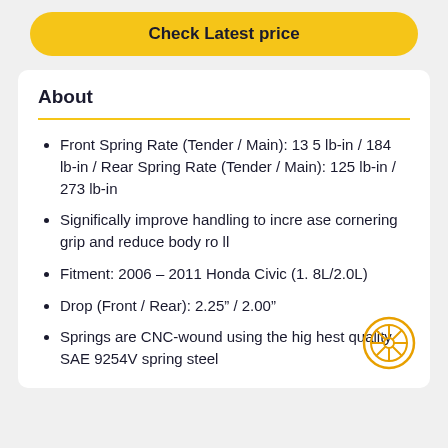Check Latest price
About
Front Spring Rate (Tender / Main): 135 lb-in / 184 lb-in / Rear Spring Rate (Tender / Main): 125 lb-in / 273 lb-in
Significally improve handling to increase cornering grip and reduce body roll
Fitment: 2006 – 2011 Honda Civic (1.8L/2.0L)
Drop (Front / Rear): 2.25” / 2.00”
Springs are CNC-wound using the highest quality SAE 9254V spring steel